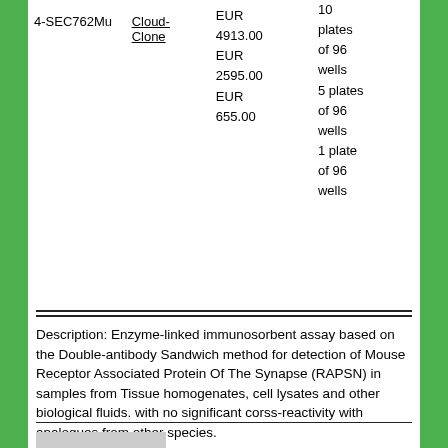|  | Supplier | Price | Package |
| --- | --- | --- | --- |
| 4-SEC762Mu | Cloud-Clone | EUR 4913.00
EUR 2595.00
EUR 655.00 | 10 plates of 96 wells
5 plates of 96 wells
1 plate of 96 wells |
Description: Enzyme-linked immunosorbent assay based on the Double-antibody Sandwich method for detection of Mouse Receptor Associated Protein Of The Synapse (RAPSN) in samples from Tissue homogenates, cell lysates and other biological fluids. with no significant corss-reactivity with analogues from other species.